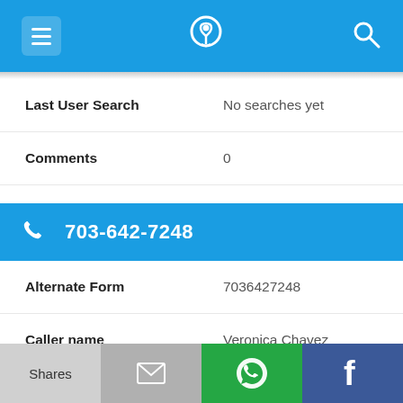[Figure (screenshot): Mobile app top navigation bar with blue background, hamburger menu icon on left, phone/location logo icon in center, search icon on right]
| Last User Search | No searches yet |
| Comments | 0 |
703-642-7248
| Alternate Form | 7036427248 |
| Caller name | Veronica Chavez |
| Last User Search | No searches yet |
[Figure (screenshot): Bottom action bar with four buttons: Shares (light gray), email icon (gray), WhatsApp icon (green), Facebook icon (dark blue)]